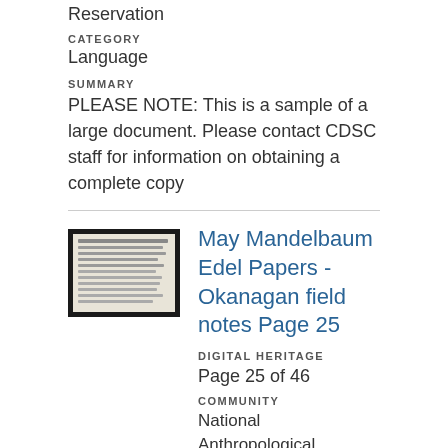Reservation
CATEGORY
Language
SUMMARY
PLEASE NOTE: This is a sample of a large document. Please contact CDSC staff for information on obtaining a complete copy
[Figure (photo): Thumbnail image of a handwritten or typed document page with text, dark background border]
May Mandelbaum Edel Papers - Okanagan field notes Page 25
DIGITAL HERITAGE
Page 25 of 46
COMMUNITY
National Anthropological Archives, Confederated Tribes of the Colville